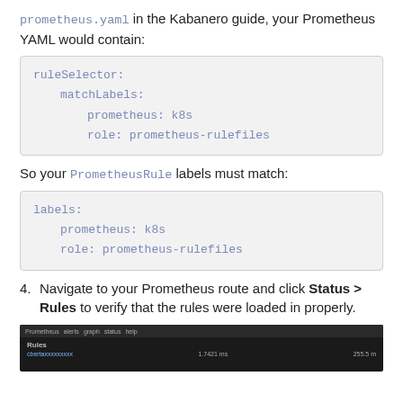prometheus.yaml in the Kabanero guide, your Prometheus YAML would contain:
ruleSelector:
    matchLabels:
        prometheus: k8s
        role: prometheus-rulefiles
So your PrometheusRule labels must match:
labels:
    prometheus: k8s
    role: prometheus-rulefiles
4. Navigate to your Prometheus route and click Status > Rules to verify that the rules were loaded in properly.
[Figure (screenshot): Screenshot of Prometheus web UI showing the Rules page with a rules entry visible]